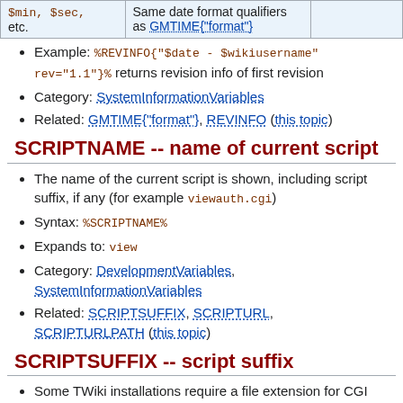|  |  |  |
| --- | --- | --- |
| $min, $sec, etc. | Same date format qualifiers as GMTIME{"format"} |  |
Example: %REVINFO{"$date - $wikiusername" rev="1.1"}% returns revision info of first revision
Category: SystemInformationVariables
Related: GMTIME{"format"}, REVINFO (this topic)
SCRIPTNAME -- name of current script
The name of the current script is shown, including script suffix, if any (for example viewauth.cgi)
Syntax: %SCRIPTNAME%
Expands to: view
Category: DevelopmentVariables, SystemInformationVariables
Related: SCRIPTSUFFIX, SCRIPTURL, SCRIPTURLPATH (this topic)
SCRIPTSUFFIX -- script suffix
Some TWiki installations require a file extension for CGI scripts.